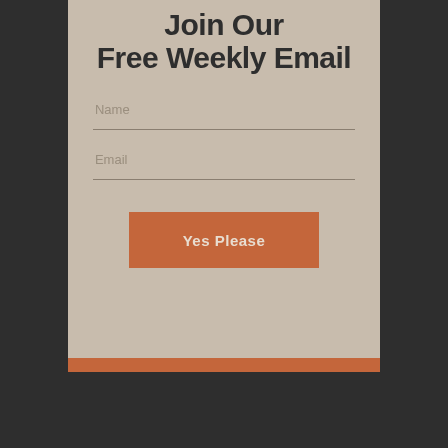Join Our Free Weekly Email
Name
Email
Yes Please